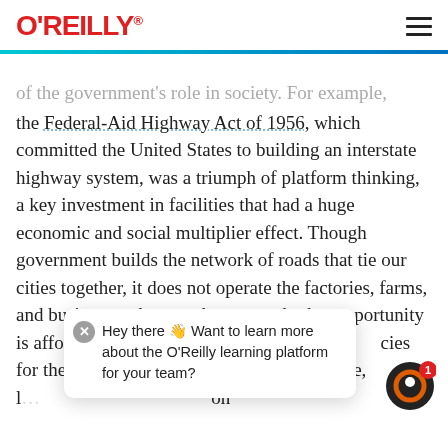O'REILLY
of the government's role in society. For example, the Federal-Aid Highway Act of 1956, which committed the United States to building an interstate highway system, was a triumph of platform thinking, a key investment in facilities that had a huge economic and social multiplier effect. Though government builds the network of roads that tie our cities together, it does not operate the factories, farms, and businesses that use that network: that opportunity is afforded to "we the people" to set policies for the use of the … commerce, l… on